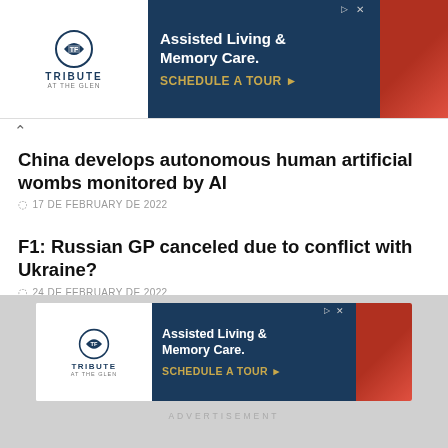[Figure (other): Advertisement banner for Tribute at the Glen - Assisted Living & Memory Care. Schedule a tour. Top of page.]
China develops autonomous human artificial wombs monitored by AI
17 DE FEBRUARY DE 2022
F1: Russian GP canceled due to conflict with Ukraine?
24 DE FEBRUARY DE 2022
Neuralink: a complaint filed for animal abuse during experiments with the brain implant
16 DE FEBRUARY DE 2022
[Figure (other): Advertisement banner for Tribute at the Glen - Assisted Living & Memory Care. Schedule a tour. Bottom of page.]
ADVERTISEMENT